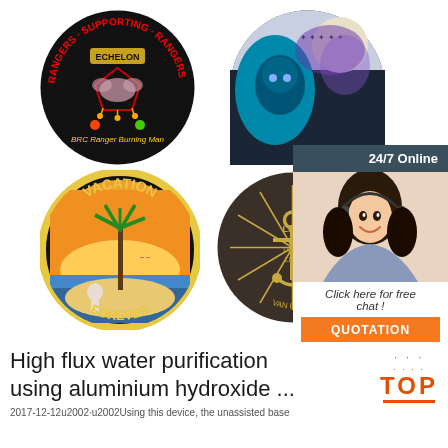[Figure (photo): Four circular embroidered/printed patches: 1) Rangers Supporting Echelon Rangers - BRC Ranger Burning Man black patch with red/green dots, 2) Dark fantasy monster artwork circular patch, 3) Vacation Forever circular patch with palm tree skeleton tropical scene, 4) Dark circular patch with anchor and Van Isle text]
[Figure (infographic): Live chat customer service overlay - dark teal bar with '24/7 Online', photo of smiling woman with headset, text 'Click here for free chat!', orange QUOTATION button]
High flux water purification using aluminium hydroxide ...
[Figure (logo): TOP badge logo with orange dots arc above and orange TOP text]
2017-12-12u2002·u2002Using this device, the unassisted base